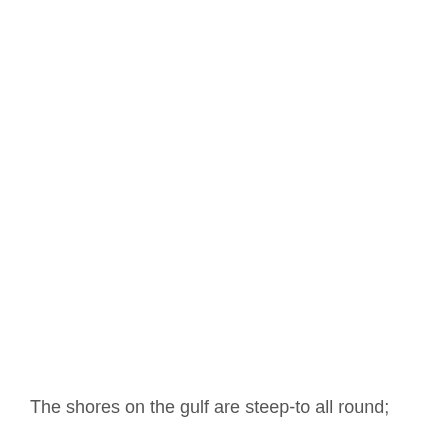The shores on the gulf are steep-to all round;